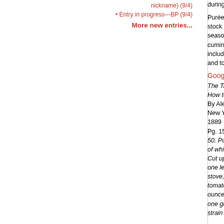nickname) (9/4)
Entry in progress—BP (9/4)
More new entries...
during the period between the 1920s–1940s, it is s
Purée Mongole is usually made with carrots, onion, stock (either beef or chicken) and milk. Depending, seasoned with curry powder, salt, pepper, ground c cumin, and basil. Simplified recipes printed in man including the 1946 edition of the Joy of Cooking, u and tomato soups as a base with additional vegeta
Google Books
The Table:
How to Buy Food, How to Cook It, an How to Serv
By Alessandro Filippini
New York, NY: Charles L. Webster & Company
1889
Pg. 158:
50. Purée Mongole.—Boil in a saucepan half a cup of white broth (No. 99), for one hour; if fresh peas, Cut up in julienna shape, one medium-sized sound one leek; place them in a saucepan with half an ou stove, cover the pan, and let simmer for five minut tomatoes, cut them into quarters, put them in a sa ounce of butter; season with one pinch of salt and one gill of white broth (No. 99). Let cook for twenty strain the tomatoes through a fine sieve into a bow